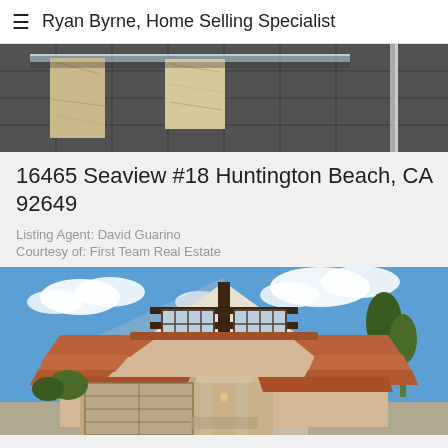Ryan Byrne, Home Selling Specialist
[Figure (photo): Interior photo showing a glass table with stone/marble base on dark tile flooring]
16465 Seaview #18 Huntington Beach, CA 92649
Listing Agent: David Guarino
Courtesy of: First Team Real Estate
[Figure (photo): Exterior photo of a Tudor-style two-story home with terracotta tile roof, brown trim, white stucco, and blue sky with clouds]